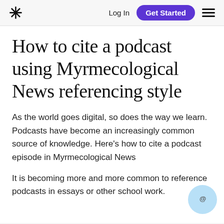* Log In Get Started ☰
How to cite a podcast using Myrmecological News referencing style
As the world goes digital, so does the way we learn. Podcasts have become an increasingly common source of knowledge. Here's how to cite a podcast episode in Myrmecological News
It is becoming more and more common to reference podcasts in essays or other school work.